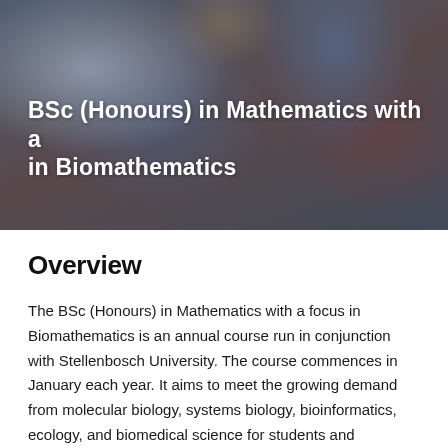[Figure (photo): Blurred photograph of students in a classroom setting, showing people seated in chairs from behind/side angles. A person in a blue plaid shirt is visible standing in the background.]
BSc (Honours) in Mathematics with a focus in Biomathematics
Overview
The BSc (Honours) in Mathematics with a focus in Biomathematics is an annual course run in conjunction with Stellenbosch University. The course commences in January each year. It aims to meet the growing demand from molecular biology, systems biology, bioinformatics, ecology, and biomedical science for students and researchers with solid mathematical